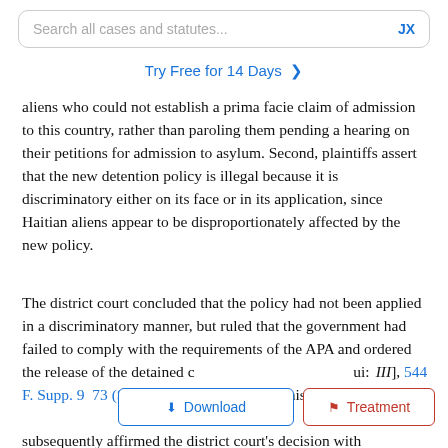Search all cases and statutes...  JX
Try Free for 14 Days >
aliens who could not establish a prima facie claim of admission to this country, rather than paroling them pending a hearing on their petitions for admission to asylum. Second, plaintiffs assert that the new detention policy is illegal because it is discriminatory either on its face or in its application, since Haitian aliens appear to be disproportionately affected by the new policy.
The district court concluded that the policy had not been applied in a discriminatory manner, but ruled that the government had failed to comply with the requirements of the APA and ordered the release of the detained [III], 544 F. Supp. 973 (S.D.Fla. 1982). A panel of this court subsequently affirmed the district court's decision with